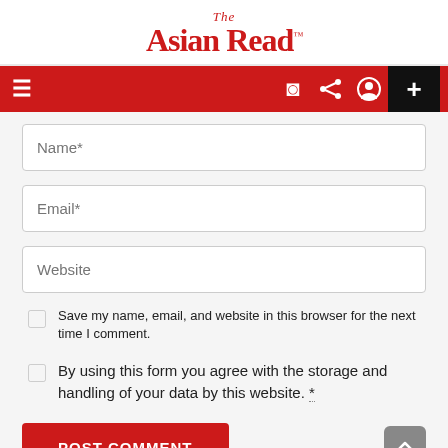The Asian Read™
[Figure (screenshot): Red navigation bar with hamburger menu icon on left, and icons (crescent moon, share, user, plus button) on the right]
Name*
Email*
Website
Save my name, email, and website in this browser for the next time I comment.
By using this form you agree with the storage and handling of your data by this website. *
POST COMMENT